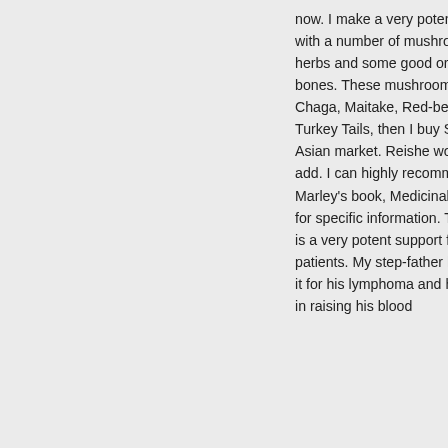now. I make a very potent broth/stock with a number of mushrooms, some root herbs and some good organic beef bones. These mushrooms include Chaga, Maitake, Red-belted polypores, Turkey Tails, then I buy Shitakes from an Asian market. Reishe would be great to add. I can highly recommend Greg Marley's book, Medicinal Mushrooms, for specific information. Taken daily, this is a very potent support for Cancer patients. My step-father has been taking it for his lymphoma and has had success in raising his blood